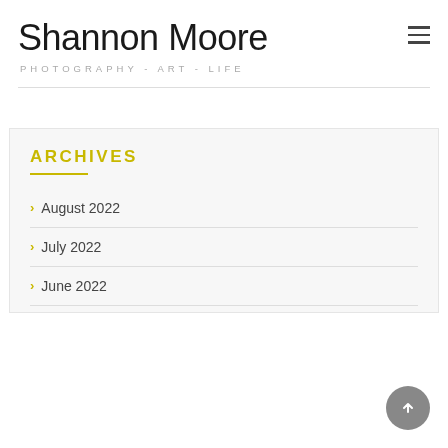Shannon Moore
PHOTOGRAPHY - ART - LIFE
ARCHIVES
August 2022
July 2022
June 2022